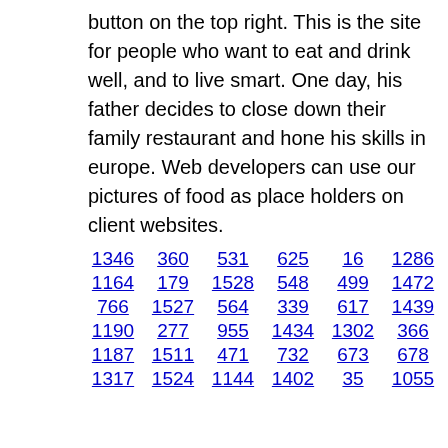button on the top right. This is the site for people who want to eat and drink well, and to live smart. One day, his father decides to close down their family restaurant and hone his skills in europe. Web developers can use our pictures of food as place holders on client websites.
1346  360  531  625  16  1286
1164  179  1528  548  499  1472
766  1527  564  339  617  1439
1190  277  955  1434  1302  366
1187  1511  471  732  673  678
1317  1524  1144  1402  35  1055